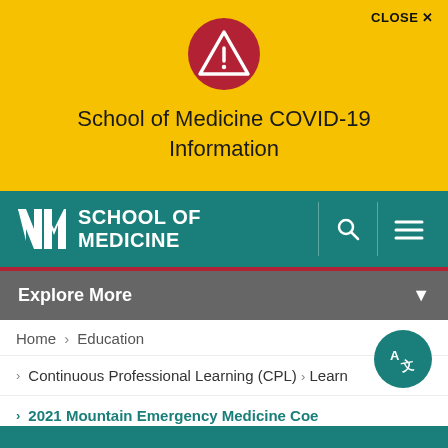[Figure (screenshot): Yellow COVID-19 warning banner with red warning circle icon containing exclamation triangle]
CLOSE ✕
School of Medicine COVID-19 Information
[Figure (logo): UNM School of Medicine logo on teal navigation bar with search and menu icons]
Explore More
Home > Education
> Continuous Professional Learning (CPL) > Learn
> 2021 Mountain Emergency Medicine Co...e
[Figure (other): Translate button (circular teal icon with A/translate symbol)]